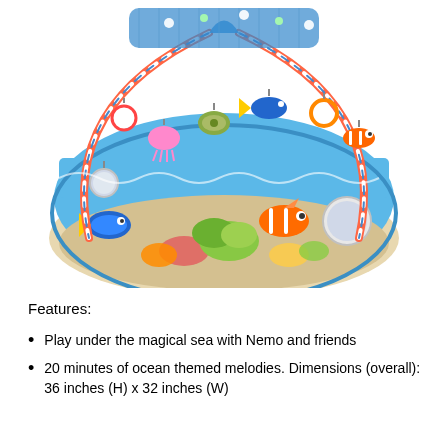[Figure (photo): A Finding Nemo themed baby activity gym/play mat with blue ocean design, colorful arches, hanging toys including characters like Nemo, Dory, and a turtle, with lights and a mesh canopy on top.]
Features:
Play under the magical sea with Nemo and friends
20 minutes of ocean themed melodies. Dimensions (overall): 36 inches (H) x 32 inches (W)